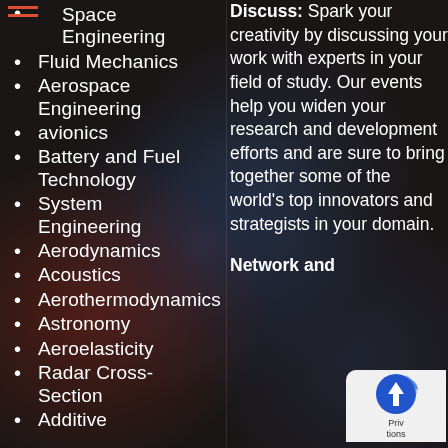Space Engineering
Fluid Mechanics
Aerospace Engineering
avionics
Battery and Fuel Technology
System Engineering
Aerodynamics
Acoustics
Aerothermodynamics
Astronomy
Aeroelasticity
Radar Cross-Section
Additive
Discuss: Spark your creativity by discussing your work with experts in your field of study. Our events help you widen your research and development efforts and are sure to bring together some of the world's top innovators and strategists in your domain.
Network and